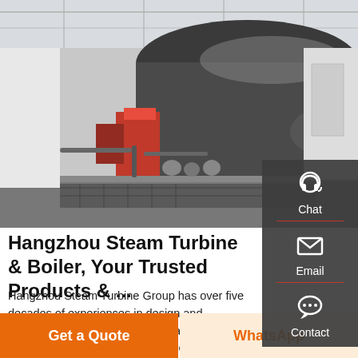[Figure (photo): Industrial steam boilers/turbine equipment in a factory setting. Large cylindrical boiler vessels are visible with red burner components, pipes, and machinery inside a white industrial building with metal roof trusses.]
Hangzhou Steam Turbine & Boiler, Your Trusted Products & ...
Hangzhou Steam Turbine Group has over five decades of experiences in design and develop the steam turbine generator. The steam turbine of Hangzhou has delivered worldwide more than 12000
[Figure (other): Sidebar panel with Chat (headset icon), Email (envelope icon), and Contact (speech bubble icon) options on dark grey background]
Get a Quote
WhatsApp